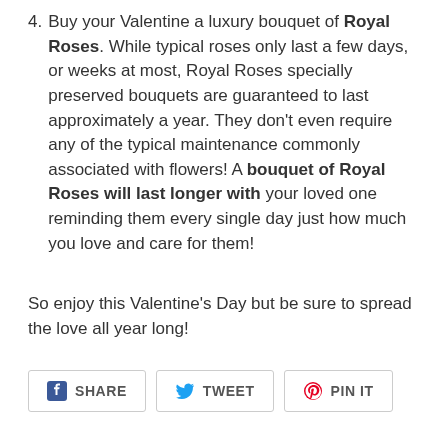4. Buy your Valentine a luxury bouquet of Royal Roses. While typical roses only last a few days, or weeks at most, Royal Roses specially preserved bouquets are guaranteed to last approximately a year. They don't even require any of the typical maintenance commonly associated with flowers! A bouquet of Royal Roses will last longer with your loved one reminding them every single day just how much you love and care for them!
So enjoy this Valentine's Day but be sure to spread the love all year long!